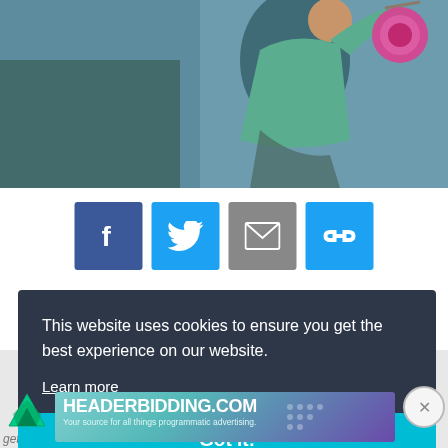[Figure (photo): Golfer mid-swing, wearing teal/green shirt, with pink/magenta golf club head visible at top right. Background is blurred outdoor scene.]
[Figure (infographic): Social share buttons: Facebook (blue), Twitter (blue), Email (gray), Link (blue) icons in square buttons]
This website uses cookies to ensure you get the best experience on our website.
Learn more
Got it!
[Figure (logo): Freestar logo - green/teal triangular icon with arrow]
[Figure (other): Close button - circular X button]
[Figure (other): HEADERBIDDING.COM advertisement banner - Your source for all things programmatic advertising.]
get b...